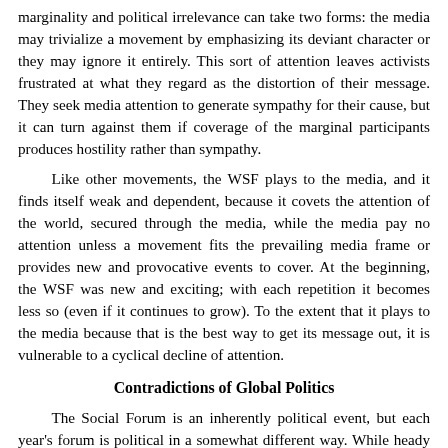marginality and political irrelevance can take two forms: the media may trivialize a movement by emphasizing its deviant character or they may ignore it entirely. This sort of attention leaves activists frustrated at what they regard as the distortion of their message. They seek media attention to generate sympathy for their cause, but it can turn against them if coverage of the marginal participants produces hostility rather than sympathy.
Like other movements, the WSF plays to the media, and it finds itself weak and dependent, because it covets the attention of the world, secured through the media, while the media pay no attention unless a movement fits the prevailing media frame or provides new and provocative events to cover. At the beginning, the WSF was new and exciting; with each repetition it becomes less so (even if it continues to grow). To the extent that it plays to the media because that is the best way to get its message out, it is vulnerable to a cyclical decline of attention.
Contradictions of Global Politics
The Social Forum is an inherently political event, but each year's forum is political in a somewhat different way. While heady and exciting, the Forum's meetings have been contentious and taken criticisms from those who are disappointed that it has neither practiced full democracy not effectively waged global struggle. In the first years, up to 2003, the two streams of its origin–NGOs and